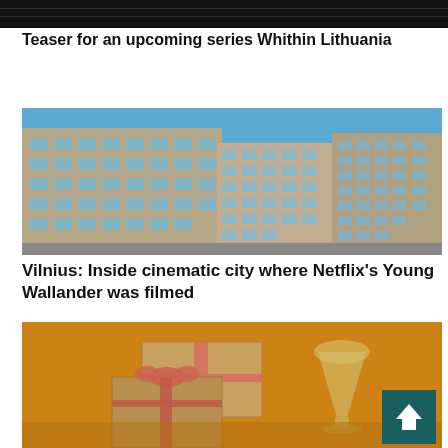[Figure (photo): Dark/black banner image at top of page]
Teaser for an upcoming series Whithin Lithuania
[Figure (photo): Photo of Soviet-era apartment block buildings in Vilnius with blue sky]
Vilnius: Inside cinematic city where Netflix's Young Wallander was filmed
[Figure (photo): Photo of gift boxes and a wine glass on orange/warm background]